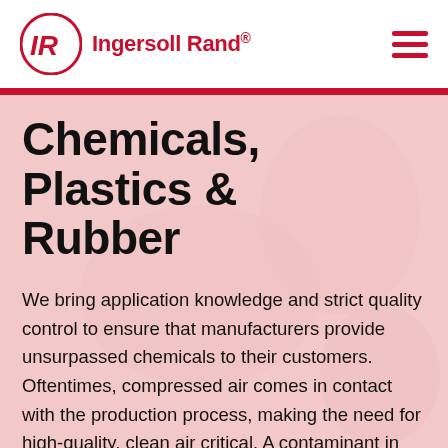Ingersoll Rand
[Figure (photo): Faded pink-tinted background photo of a person in gloves working in a laboratory or chemical environment]
Chemicals, Plastics & Rubber
We bring application knowledge and strict quality control to ensure that manufacturers provide unsurpassed chemicals to their customers. Oftentimes, compressed air comes in contact with the production process, making the need for high-quality, clean air critical. A contaminant in the compressed air supply can result in costly product